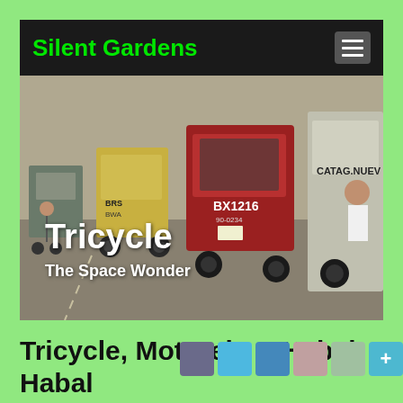Silent Gardens
[Figure (photo): A row of colorful tricycles (motorcycle taxis with sidecars) on a Philippine road. One prominent red tricycle is labeled BX1216 and another says CATAG.NUEVO. Text overlays read 'Tricycle' and 'The Space Wonder'.]
Tricycle, Motorela & Habal-Habal